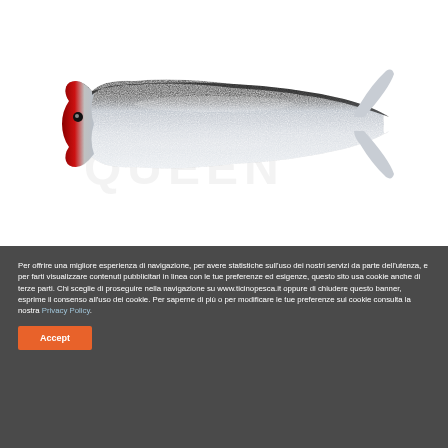[Figure (photo): A fishing lure (soft plastic shad/swimbait) with a silver glittery body, black back, and red head/chin area, shaped like a small fish with a paddle tail. A faint watermark 'SHAD QUEEN' is visible in the background.]
Per offrire una migliore esperienza di navigazione, per avere statistiche sull'uso dei nostri servizi da parte dell'utenza, e per farti visualizzare contenuti pubblicitari in linea con le tue preferenze ed esigenze, questo sito usa cookie anche di terze parti. Chi sceglie di proseguire nella navigazione su www.ticinopesca.it oppure di chiudere questo banner, esprime il consenso all'uso dei cookie. Per saperne di più o per modificare le tue preferenze sui cookie consulta la nostra Privacy Policy.
Accept